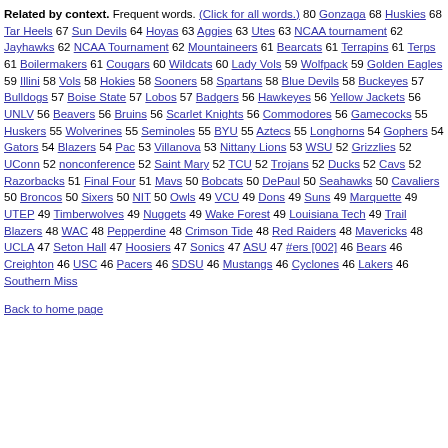Related by context. Frequent words. (Click for all words.) 80 Gonzaga 68 Huskies 68 Tar Heels 67 Sun Devils 64 Hoyas 63 Aggies 63 Utes 63 NCAA tournament 62 Jayhawks 62 NCAA Tournament 62 Mountaineers 61 Bearcats 61 Terrapins 61 Terps 61 Boilermakers 61 Cougars 60 Wildcats 60 Lady Vols 59 Wolfpack 59 Golden Eagles 59 Illini 58 Vols 58 Hokies 58 Sooners 58 Spartans 58 Blue Devils 58 Buckeyes 57 Bulldogs 57 Boise State 57 Lobos 57 Badgers 56 Hawkeyes 56 Yellow Jackets 56 UNLV 56 Beavers 56 Bruins 56 Scarlet Knights 56 Commodores 56 Gamecocks 55 Huskers 55 Wolverines 55 Seminoles 55 BYU 55 Aztecs 55 Longhorns 54 Gophers 54 Gators 54 Blazers 54 Pac 53 Villanova 53 Nittany Lions 53 WSU 52 Grizzlies 52 UConn 52 nonconference 52 Saint Mary 52 TCU 52 Trojans 52 Ducks 52 Cavs 52 Razorbacks 51 Final Four 51 Mavs 50 Bobcats 50 DePaul 50 Seahawks 50 Cavaliers 50 Broncos 50 Sixers 50 NIT 50 Owls 49 VCU 49 Dons 49 Suns 49 Marquette 49 UTEP 49 Timberwolves 49 Nuggets 49 Wake Forest 49 Louisiana Tech 49 Trail Blazers 48 WAC 48 Pepperdine 48 Crimson Tide 48 Red Raiders 48 Mavericks 48 UCLA 47 Seton Hall 47 Hoosiers 47 Sonics 47 ASU 47 #ers [002] 46 Bears 46 Creighton 46 USC 46 Pacers 46 SDSU 46 Mustangs 46 Cyclones 46 Lakers 46 Southern Miss
Back to home page